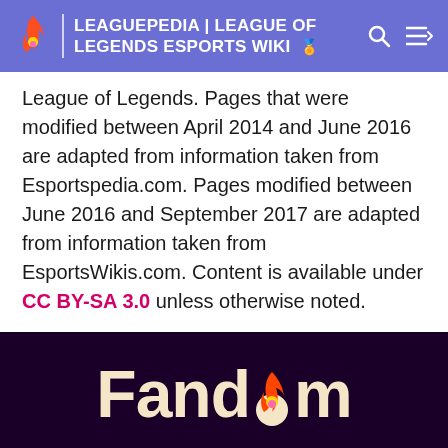LEAGUEPEDIA | LEAGUE OF LEGENDS ESPORTS WIKI
League of Legends. Pages that were modified between April 2014 and June 2016 are adapted from information taken from Esportspedia.com. Pages modified between June 2016 and September 2017 are adapted from information taken from EsportsWikis.com. Content is available under CC BY-SA 3.0 unless otherwise noted.
[Figure (logo): Fandom logo in cream/beige color on dark purple background with flame icon]
EXPLORE PROPERTIES
Fandom    Futhead